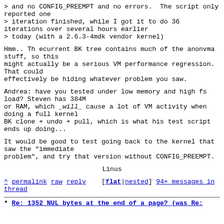> and no CONFIG_PREEMPT and no errors.  The script only reported one
> iteration finished, while I got it to do 36 iterations over several hours earlier
> today (with a 2.6.3-4mdk vendor kernel)
Hmm.. Th ecurrent BK tree contains much of the anonvma stuff, so this
might actually be a serious VM performance regression.  That could
effectively be hiding whatever problem you saw.
Andrea: have you tested under low memory and high fs load? Steven has 384M
or RAM, which _will_ cause a lot of VM activity when doing a full kernel
BK clone + undo + pull, which is what his test script ends up doing...
It would be good to test going back to the kernel that saw the "immediate
problem", and try that version without CONFIG_PREEMPT.
Linus
^ permalink raw reply    [flat|nested] 94+ messages in thread
* Re: 1352 NUL bytes at the end of a page? (was Re: